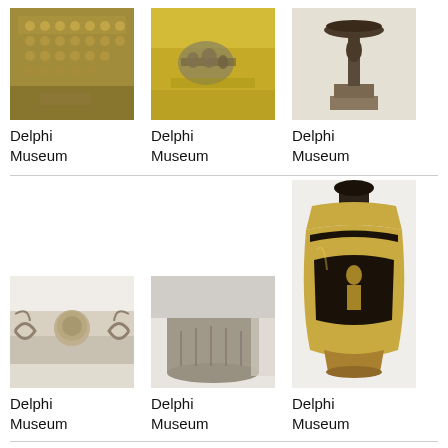[Figure (photo): Museum artifacts on yellow-brown background — small figurines/coins arranged in rows]
Delphi Museum
[Figure (photo): Museum artifacts on yellow background — small bronze figurines/objects]
Delphi Museum
[Figure (photo): Bronze statue of a figure holding a vessel above their head, on a pedestal]
Delphi Museum
[Figure (photo): Stone architectural fragment with lion head and scroll decorations]
Delphi Museum
[Figure (photo): Cylindrical stone column drum with carved relief figures]
Delphi Museum
[Figure (photo): Black and yellow ancient Greek lekythos (oil flask) with painted figures]
Delphi Museum
[Figure (photo): Partial view of a museum artifact — partially cropped at bottom of page]
[Figure (photo): Partial view of a museum artifact — partially cropped at bottom of page]